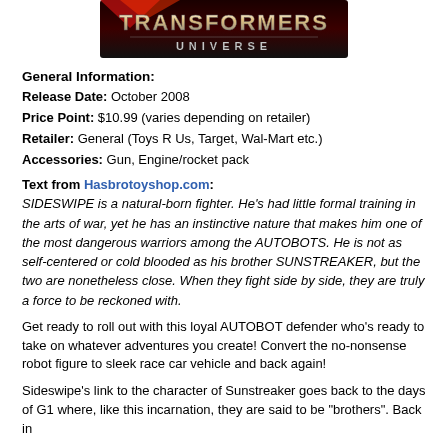[Figure (logo): Transformers Universe logo — stylized red and chrome text on a dark background]
General Information:
Release Date: October 2008
Price Point: $10.99 (varies depending on retailer)
Retailer: General (Toys R Us, Target, Wal-Mart etc.)
Accessories: Gun, Engine/rocket pack
Text from Hasbrotoyshop.com:
SIDESWIPE is a natural-born fighter. He's had little formal training in the arts of war, yet he has an instinctive nature that makes him one of the most dangerous warriors among the AUTOBOTS. He is not as self-centered or cold blooded as his brother SUNSTREAKER, but the two are nonetheless close. When they fight side by side, they are truly a force to be reckoned with.
Get ready to roll out with this loyal AUTOBOT defender who's ready to take on whatever adventures you create! Convert the no-nonsense robot figure to sleek race car vehicle and back again!
Sideswipe's link to the character of Sunstreaker goes back to the days of G1 where, like this incarnation, they are said to be "brothers". Back in